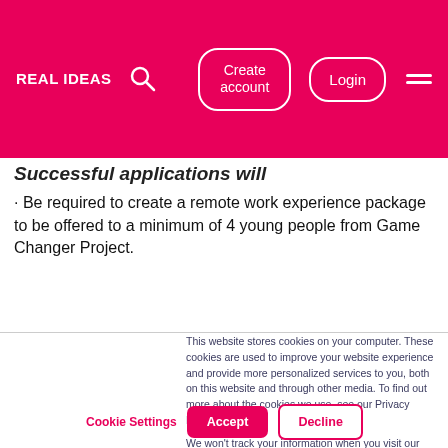Real Ideas — Create account | Login
Successful applications will
· Be required to create a remote work experience package to be offered to a minimum of 4 young people from Game Changer Project.
This website stores cookies on your computer. These cookies are used to improve your website experience and provide more personalized services to you, both on this website and through other media. To find out more about the cookies we use, see our Privacy Policy.
We won't track your information when you visit our site. But in order to comply with your preferences, we'll have to use just one tiny cookie so that you're not asked to make this choice again.
Cookie Settings | Accept | Decline